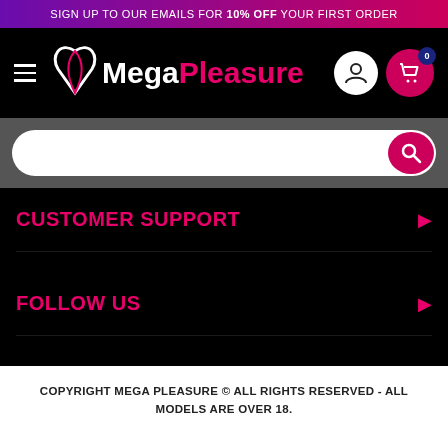SIGN UP TO OUR EMAILS FOR 10% OFF YOUR FIRST ORDER
[Figure (logo): MegaPleasure website header with hamburger menu, logo, user icon, and cart icon showing 0 items]
[Figure (screenshot): Search bar with pink search button on grey background]
CUSTOMER SUPPORT
FOLLOW US
COPYRIGHT MEGA PLEASURE © ALL RIGHTS RESERVED - ALL MODELS ARE OVER 18.